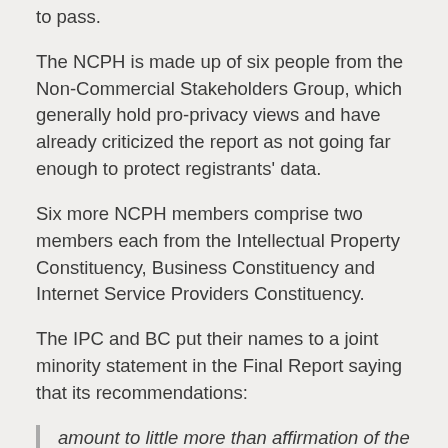to pass.
The NCPH is made up of six people from the Non-Commercial Stakeholders Group, which generally hold pro-privacy views and have already criticized the report as not going far enough to protect registrants' data.
Six more NCPH members comprise two members each from the Intellectual Property Constituency, Business Constituency and Internet Service Providers Constituency.
The IPC and BC put their names to a joint minority statement in the Final Report saying that its recommendations:
amount to little more than affirmation of the [pre-EPDP] status quo: the elements of WHOIS